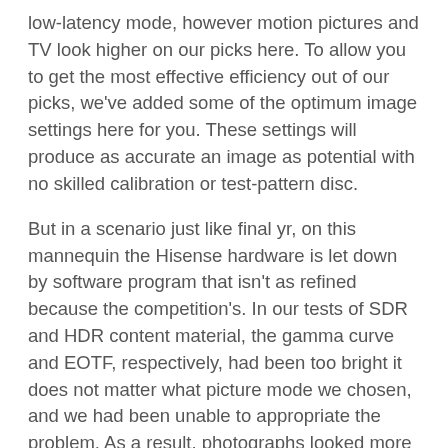low-latency mode, however motion pictures and TV look higher on our picks here. To allow you to get the most effective efficiency out of our picks, we've added some of the optimum image settings here for you. These settings will produce as accurate an image as potential with no skilled calibration or test-pattern disc.
But in a scenario just like final yr, on this mannequin the Hisense hardware is let down by software program that isn't as refined because the competition's. In our tests of SDR and HDR content material, the gamma curve and EOTF, respectively, had been too bright it does not matter what picture mode we chosen, and we had been unable to appropriate the problem. As a result, photographs looked more washed out and lacked pop compared with what we noticed from the competitors. In SDR video, shadow areas appeared closer to gray than black except we significantly lowered the backlight, after which the image was too dim for so much of rooms. HDR pictures have been brighter than they should be, and we'd also addition ally to make her cut out